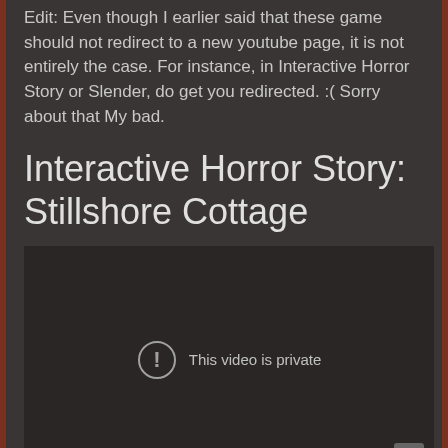Edit: Even though I earlier said that these game should not redirect to a new youtube page, it is not entirely the case. For instance, in Interactive Horror Story or Slender, do get you redirected. :( Sorry about that My bad.
Interactive Horror Story: Stillshore Cottage
[Figure (screenshot): Embedded YouTube video player showing 'This video is private' error message with exclamation icon and YouTube logo in bottom right corner.]
SLENDER  -  THE